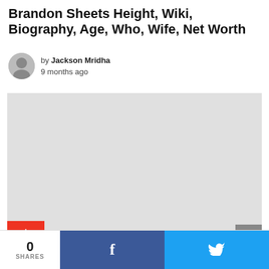Brandon Sheets Height, Wiki, Biography, Age, Who, Wife, Net Worth
by Jackson Mridha
9 months ago
[Figure (other): Gray placeholder image/advertisement area]
0 Shares
0
SHARES